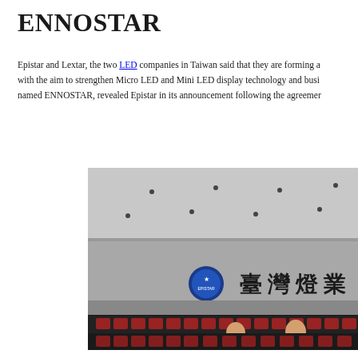ENNOSTAR
Epistar and Lextar, the two LED companies in Taiwan said that they are forming a with the aim to strengthen Micro LED and Mini LED display technology and busi named ENNOSTAR, revealed Epistar in its announcement following the agreemer
[Figure (photo): A photo of what appears to be a meeting or event venue with Chinese characters on the wall and a blue logo, with people visible in the lower portion of the image against a backdrop of LED displays.]